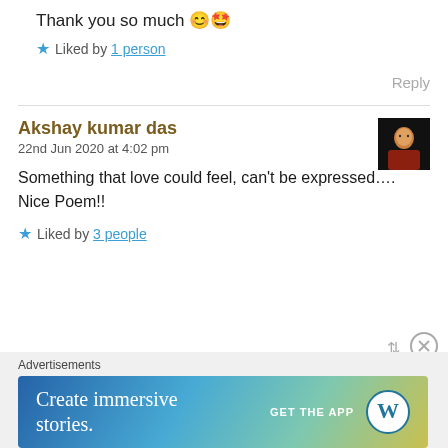Thank you so much 😊🤩
★ Liked by 1 person
Reply
Akshay kumar das
22nd Jun 2020 at 4:02 pm
Something that love could feel, can't be expressed….
Nice Poem!!
★ Liked by 3 people
[Figure (photo): Avatar photo of commenter Akshay kumar das]
Advertisements
[Figure (infographic): WordPress app advertisement banner reading 'Create immersive stories. GET THE APP' with WordPress logo]